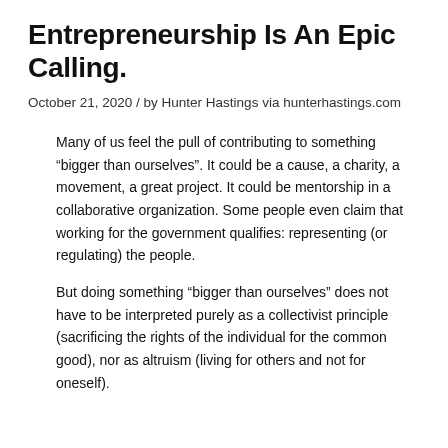Entrepreneurship Is An Epic Calling.
October 21, 2020 / by Hunter Hastings via hunterhastings.com
Many of us feel the pull of contributing to something “bigger than ourselves”. It could be a cause, a charity, a movement, a great project. It could be mentorship in a collaborative organization. Some people even claim that working for the government qualifies: representing (or regulating) the people.
But doing something “bigger than ourselves” does not have to be interpreted purely as a collectivist principle (sacrificing the rights of the individual for the common good), nor as altruism (living for others and not for oneself).